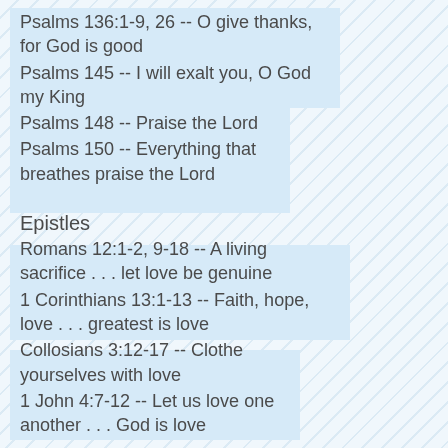Psalms 136:1-9, 26 -- O give thanks, for God is good
Psalms 145 -- I will exalt you, O God my King
Psalms 148 -- Praise the Lord
Psalms 150 -- Everything that breathes praise the Lord
Epistles
Romans 12:1-2, 9-18 -- A living sacrifice . . . let love be genuine
1 Corinthians 13:1-13 -- Faith, hope, love . . . greatest is love
Collosians 3:12-17 -- Clothe yourselves with love
1 John 4:7-12 -- Let us love one another . . . God is love